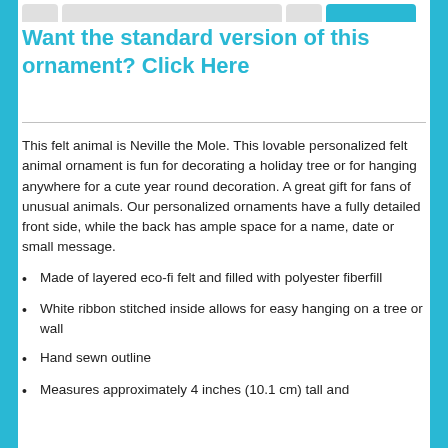Want the standard version of this ornament? Click Here
This felt animal is Neville the Mole. This lovable personalized felt animal ornament is fun for decorating a holiday tree or for hanging anywhere for a cute year round decoration. A great gift for fans of unusual animals. Our personalized ornaments have a fully detailed front side, while the back has ample space for a name, date or small message.
Made of layered eco-fi felt and filled with polyester fiberfill
White ribbon stitched inside allows for easy hanging on a tree or wall
Hand sewn outline
Measures approximately 4 inches (10.1 cm) tall and